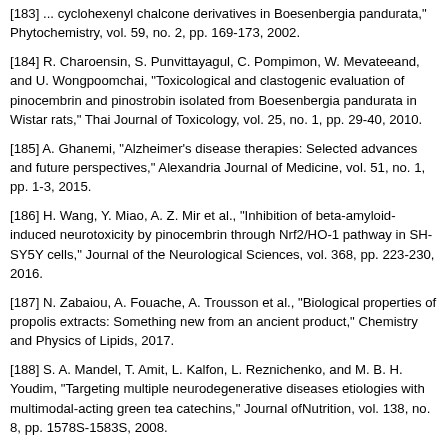[183] ... cyclohexenyl chalcone derivatives in Boesenbergia pandurata, Phytochemistry, vol. 59, no. 2, pp. 169-173, 2002.
[184] R. Charoensin, S. Punvittayagul, C. Pompimon, W. Mevateeand, and U. Wongpoomchai, "Toxicological and clastogenic evaluation of pinocembrin and pinostrobin isolated from Boesenbergia pandurata in Wistar rats," Thai Journal of Toxicology, vol. 25, no. 1, pp. 29-40, 2010.
[185] A. Ghanemi, "Alzheimer's disease therapies: Selected advances and future perspectives," Alexandria Journal of Medicine, vol. 51, no. 1, pp. 1-3, 2015.
[186] H. Wang, Y. Miao, A. Z. Mir et al., "Inhibition of beta-amyloid-induced neurotoxicity by pinocembrin through Nrf2/HO-1 pathway in SH-SY5Y cells," Journal of the Neurological Sciences, vol. 368, pp. 223-230, 2016.
[187] N. Zabaiou, A. Fouache, A. Trousson et al., "Biological properties of propolis extracts: Something new from an ancient product," Chemistry and Physics of Lipids, 2017.
[188] S. A. Mandel, T. Amit, L. Kalfon, L. Reznichenko, and M. B. H. Youdim, "Targeting multiple neurodegenerative diseases etiologies with multimodal-acting green tea catechins," Journal ofNutrition, vol. 138, no. 8, pp. 1578S-1583S, 2008.
[189] O. Weinreb, T. Amit, S. Mandel, and M. B. H. Youdim, "Neuroprotective molecular mechanisms of (-)-epigallocatechin-3-gallate: a reflective outcome of its antioxidant, iron chelating and neuritogenic properties," Genes and Nutrition, vol. 4, no. 4, pp. 283-296, 2009.